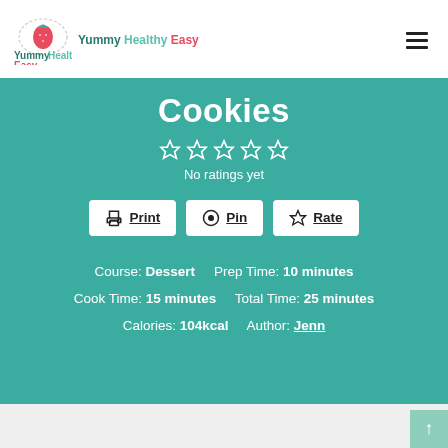[Figure (logo): Yummy Healthy Easy logo with strawberry icon and text]
Cookies
No ratings yet
Print  Pin  Rate
Course: Dessert   Prep Time: 10 minutes   Cook Time: 15 minutes   Total Time: 25 minutes   Calories: 104kcal   Author: Jenn